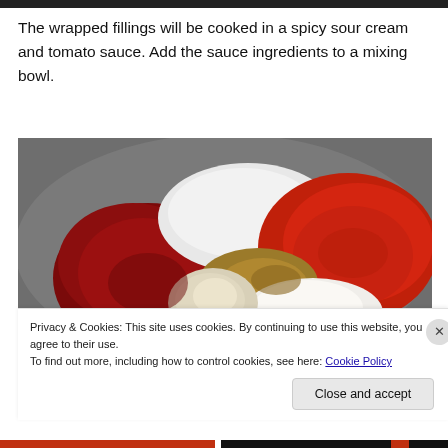The wrapped fillings will be cooked in a spicy sour cream and tomato sauce. Add the sauce ingredients to a mixing bowl.
[Figure (photo): A mixing bowl containing sauce ingredients: tomato paste (dark red, left), minced garlic (center), salt (white powder, top center), ground spices (brown, center), and paprika or chili powder (bright red, right).]
Privacy & Cookies: This site uses cookies. By continuing to use this website, you agree to their use.
To find out more, including how to control cookies, see here: Cookie Policy
Close and accept